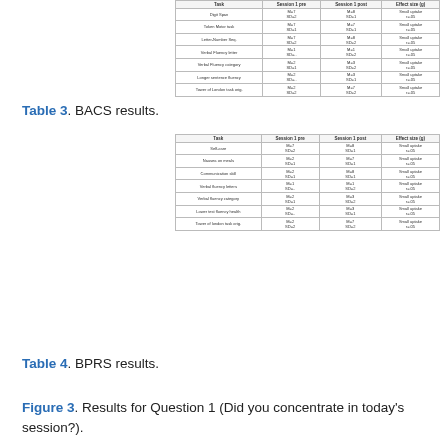[Figure (table-as-image): Thumbnail of Table 3 BACS results table showing rows and columns with numerical data]
Table 3. BACS results.
[Figure (table-as-image): Thumbnail of Table 4 BPRS results table showing rows and columns with numerical data]
Table 4. BPRS results.
Figure 3. Results for Question 1 (Did you concentrate in today's session?).
during the sessions (the responses to Question 1 in Figure 1). In Figure 3, because of absence, the number of participants for each session varies session by session. This also applies to Figures 4-6.